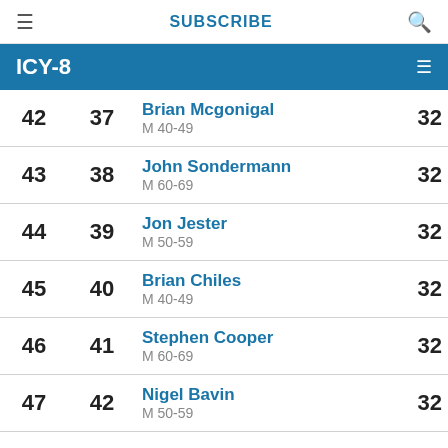SUBSCRIBE
ICY-8
| Overall Rank | Age Group Rank | Name / Category | Score |
| --- | --- | --- | --- |
| 42 | 37 | Brian Mcgonigal / M 40-49 | 32 |
| 43 | 38 | John Sondermann / M 60-69 | 32 |
| 44 | 39 | Jon Jester / M 50-59 | 32 |
| 45 | 40 | Brian Chiles / M 40-49 | 32 |
| 46 | 41 | Stephen Cooper / M 60-69 | 32 |
| 47 | 42 | Nigel Bavin / M 50-59 | 32 |